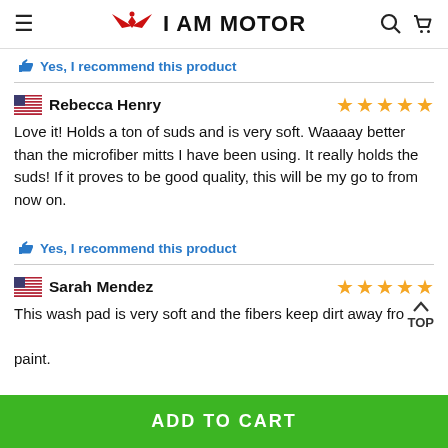I AM MOTOR
Yes, I recommend this product
Rebecca Henry — 5 stars
Love it! Holds a ton of suds and is very soft. Waaaay better than the microfiber mitts I have been using. It really holds the suds! If it proves to be good quality, this will be my go to from now on.
Yes, I recommend this product
Sarah Mendez — 5 stars
This wash pad is very soft and the fibers keep dirt away from the paint.
ADD TO CART